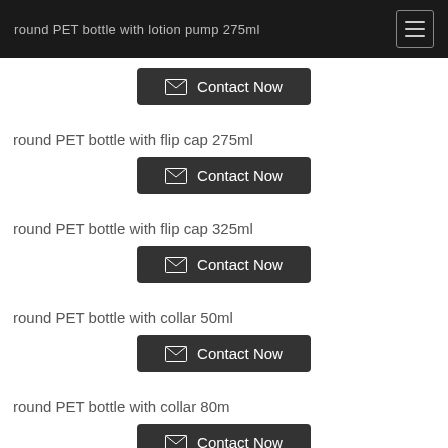round PET bottle with lotion pump 275ml
round PET bottle with flip cap 275ml
round PET bottle with flip cap 325ml
round PET bottle with collar 50ml
round PET bottle with collar 80m